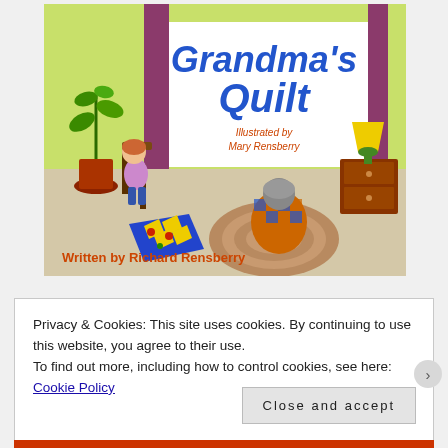[Figure (illustration): Book cover of 'Grandma's Quilt'. Illustrated children's book cover showing a child sitting in a chair looking at a quilt, and an elderly person (grandma) sitting on a rug. A green plant in a red pot is on the left, and a lamp and dresser on the right. The room has a yellow-green wall. Title 'Grandma's Quilt' is shown in large blue text on a white background in the center. 'Illustrated by Mary Rensberry' in orange/red text in center. 'Written by Richard Rensberry' in orange/red bold text at bottom left.]
Privacy & Cookies: This site uses cookies. By continuing to use this website, you agree to their use.
To find out more, including how to control cookies, see here: Cookie Policy
Close and accept